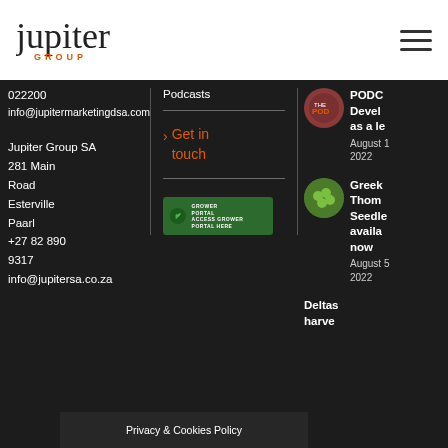[Figure (logo): Jupiter Group logo — wordmark 'jupiter' in dark lowercase with 'GROUP' in orange capitals below]
Jupiter Group website header with logo and hamburger menu
022200
info@jupitermarketingdsa.com
Jupiter Group SA
281 Main Road
Esterville
Paarl
+27 82 890 9317
info@jupitersa.co.za
Podcasts
> Get in touch
[Figure (logo): Grower Portal banner — green background with leaf icon and text ACCESS GROWER PORTAL HERE]
PODC Devel as a le August 2022
Greek Thom Seedle availa now August 2022
Deltas harve
Privacy & Cookies Policy